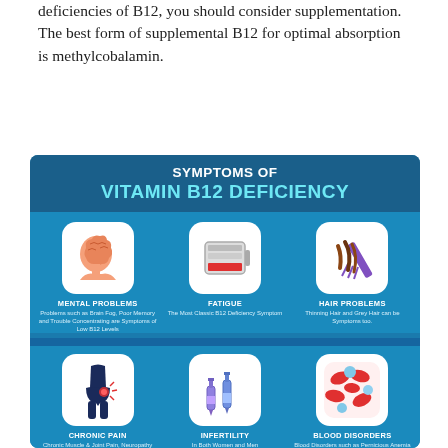deficiencies of B12, you should consider supplementation. The best form of supplemental B12 for optimal absorption is methylcobalamin.
[Figure (infographic): Infographic titled 'Symptoms of Vitamin B12 Deficiency' with 6 symptoms arranged in a 3x2 grid: Mental Problems (brain icon, 'Problems such as Brain Fog, Poor Memory and Trouble Concentrating are Symptoms of Low B12 Levels'), Fatigue (low battery icon, 'The Most Classic B12 Deficiency Symptom'), Hair Problems (hair/comb icon, 'Thinning Hair and Grey Hair can be Symptoms too.'), Chronic Pain (body pain icon, 'Chronic Muscle & Joint Pain, Neuropathy'), Infertility (test tube/syringe icon, 'In Both Women and Men'), Blood Disorders (blood cells icon, 'Blood Disorders such as Pernicious Anemia with an...').]